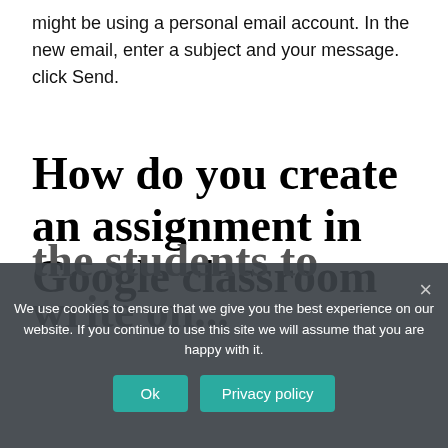might be using a personal email account. In the new email, enter a subject and your message. click Send.
How do you create an assignment in Google classroom
the students to write on...
We use cookies to ensure that we give you the best experience on our website. If you continue to use this site we will assume that you are happy with it.
Ok
Privacy policy